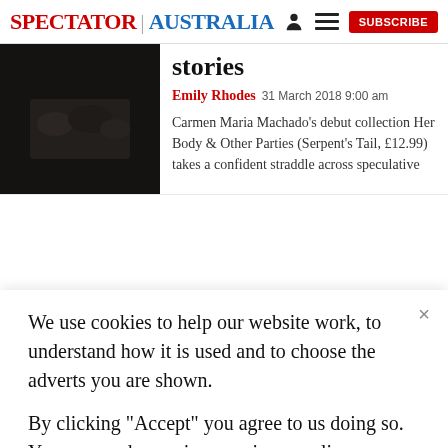SPECTATOR | AUSTRALIA
stories
Emily Rhodes 31 March 2018 9:00 am
Carmen Maria Machado's debut collection Her Body & Other Parties (Serpent's Tail, £12.99) takes a confident straddle across speculative
We use cookies to help our website work, to understand how it is used and to choose the adverts you are shown.

By clicking "Accept" you agree to us doing so. You can read more in our privacy policy.
Accept